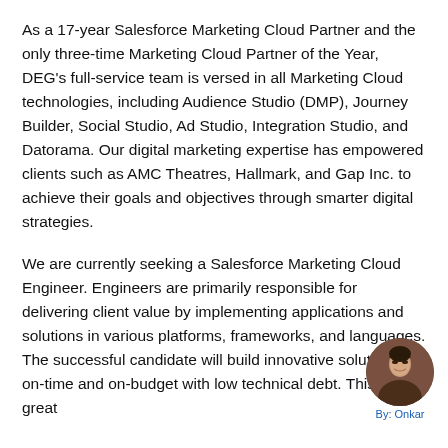As a 17-year Salesforce Marketing Cloud Partner and the only three-time Marketing Cloud Partner of the Year, DEG's full-service team is versed in all Marketing Cloud technologies, including Audience Studio (DMP), Journey Builder, Social Studio, Ad Studio, Integration Studio, and Datorama. Our digital marketing expertise has empowered clients such as AMC Theatres, Hallmark, and Gap Inc. to achieve their goals and objectives through smarter digital strategies.
We are currently seeking a Salesforce Marketing Cloud Engineer. Engineers are primarily responsible for delivering client value by implementing applications and solutions in various platforms, frameworks, and languages. The successful candidate will build innovative solutions on-time and on-budget with low technical debt. This is a great
[Figure (photo): Circular avatar photo of a person (Onkar), brown-toned portrait]
By: Onkar